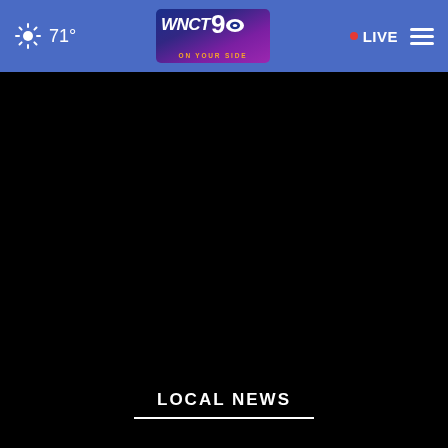71° WNCT 9 ON YOUR SIDE • LIVE
[Figure (screenshot): Black video/content area]
LOCAL NEWS